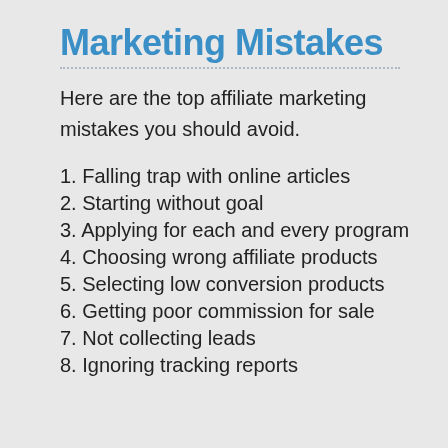Marketing Mistakes
Here are the top affiliate marketing mistakes you should avoid.
1. Falling trap with online articles
2. Starting without goal
3. Applying for each and every program
4. Choosing wrong affiliate products
5. Selecting low conversion products
6. Getting poor commission for sale
7. Not collecting leads
8. Ignoring tracking reports